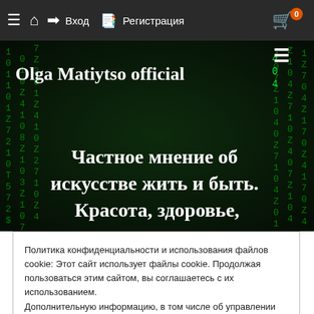☰  ⌂  ➡ Вход  📋 Регистрация   🛒 0
[Figure (screenshot): Hero banner with dark matrix-style green digital rain background. Title 'Olga Matiytso official' in white bold serif top-left. Hamburger menu icon top-right. Subtitle text 'Частное мнение об искусстве жить и быть. Красота, здоровье,' centered in white bold serif.]
Политика конфиденциальности и использования файлов cookie: Этот сайт использует файлы cookie. Продолжая пользоваться этим сайтом, вы соглашаетесь с их использованием.
Дополнительную информацию, в том числе об управлении файлами cookie, можно найти здесь: Политика использования файлов cookie
Принять и закрыть